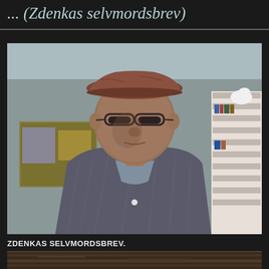... (Zdenkas selvmordsbrev)
[Figure (photo): Man wearing a flat cap/newsboy hat and glasses, dressed in a striped blazer, looking at camera. Indoor setting with bookshelf visible on the right and artwork on the left.]
ZDENKAS SELVMORDSBREV.
[Figure (photo): Partial image of what appears to be a wooden surface or plank, dark brown tones.]